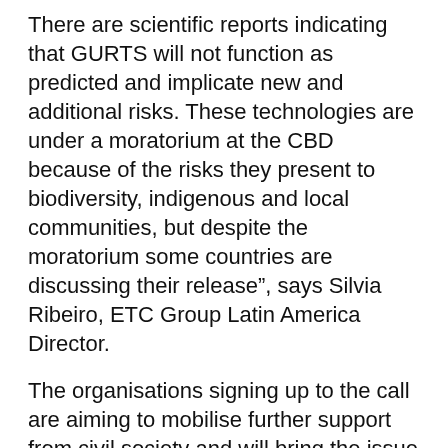There are scientific reports indicating that GURTS will not function as predicted and implicate new and additional risks. These technologies are under a moratorium at the CBD because of the risks they present to biodiversity, indigenous and local communities, but despite the moratorium some countries are discussing their release”, says Silvia Ribeiro, ETC Group Latin America Director.
The organisations signing up to the call are aiming to mobilise further support from civil society and will bring the issue to the meetings of the Parties to the Cartagena Protocol on Biosafety and the Convention on Biological Diversity, in September/October 2014 in South Korea.
Contacts: